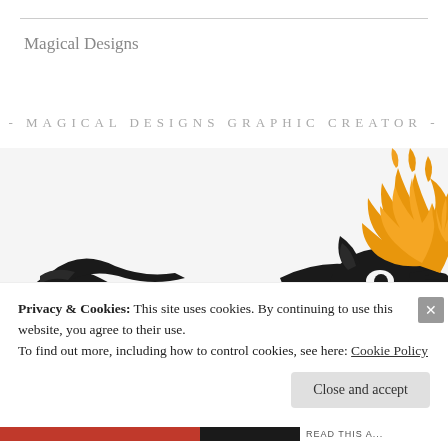Magical Designs
- MAGICAL DESIGNS GRAPHIC CREATOR -
[Figure (illustration): Black silhouette of a dragon breathing orange fire flames against a light gray background]
Privacy & Cookies: This site uses cookies. By continuing to use this website, you agree to their use.
To find out more, including how to control cookies, see here: Cookie Policy
Close and accept